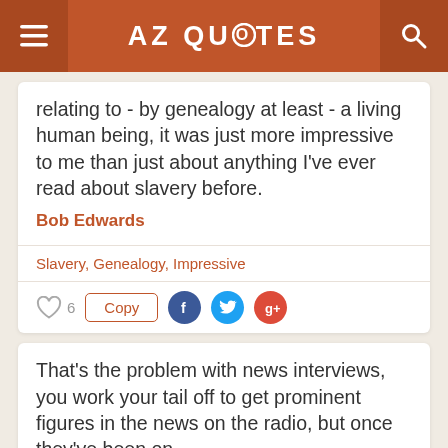AZ QUOTES
relating to - by genealogy at least - a living human being, it was just more impressive to me than just about anything I've ever read about slavery before.
Bob Edwards
Slavery, Genealogy, Impressive
That's the problem with news interviews, you work your tail off to get prominent figures in the news on the radio, but once they've been on,